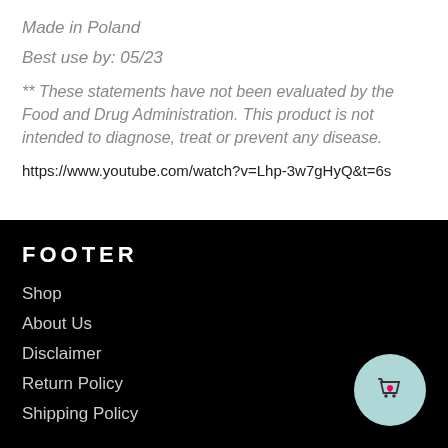Made in Poland
Best use by: 05/23
** These statements have not been evaluated by the Food and Drug Administration. This product is not intended to diagnose, treat or prevent any disease.
https://www.youtube.com/watch?v=Lhp-3w7gHyQ&t=6s
FOOTER
Shop
About Us
Disclaimer
Return Policy
Shipping Policy